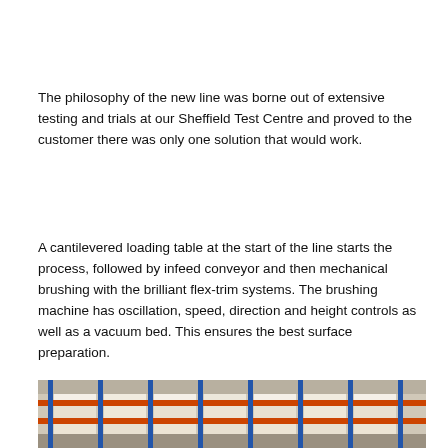The philosophy of the new line was borne out of extensive testing and trials at our Sheffield Test Centre and proved to the customer there was only one solution that would work.
A cantilevered loading table at the start of the line starts the process, followed by infeed conveyor and then mechanical brushing with the brilliant flex-trim systems. The brushing machine has oscillation, speed, direction and height controls as well as a vacuum bed. This ensures the best surface preparation.
[Figure (photo): Photograph of a warehouse or factory floor showing metal racking/shelving system with blue vertical posts and orange horizontal beams, with white boxes/pallets on the shelves.]